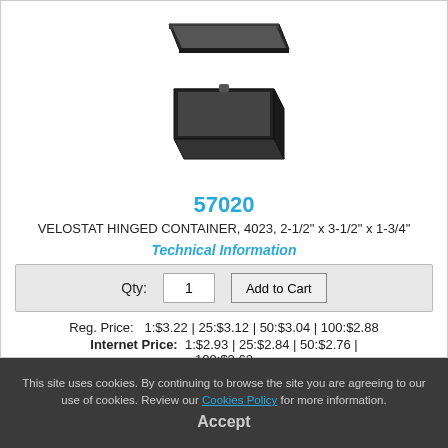[Figure (photo): Black velostat hinged container box, open lid, viewed from above at an angle]
57020
VELOSTAT HINGED CONTAINER, 4023, 2-1/2" x 3-1/2" x 1-3/4"
Technical Information
| Qty: | 1 | Add to Cart |
Reg. Price:  1:$3.22 | 25:$3.12 | 50:$3.04 | 100:$2.88
Internet Price:  1:$2.93 | 25:$2.84 | 50:$2.76 | 100:$2.62
Click HERE to See Availability
This site uses cookies. By continuing to browse the site you are agreeing to our use of cookies. Review our Cookies Policy for more information.
Accept